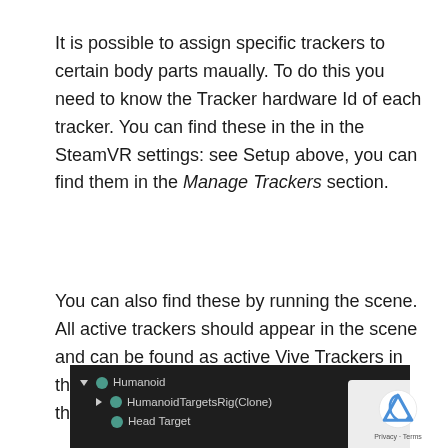It is possible to assign specific trackers to certain body parts maually. To do this you need to know the Tracker hardware Id of each tracker. You can find these in the in the SteamVR settings: see Setup above, you can find them in the Manage Trackers section.
You can also find these by running the scene. All active trackers should appear in the scene and can be found as active Vive Trackers in the humanoid/Real World/UnityXR object in the hierarchy:
[Figure (screenshot): Unity editor hierarchy panel showing Humanoid object expanded with HumanoidTargetsRig(Clone) and Head Target children, dark background]